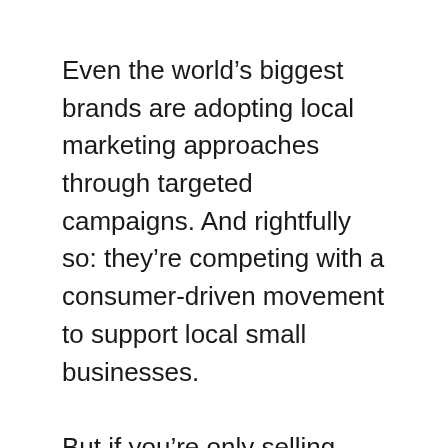Even the world's biggest brands are adopting local marketing approaches through targeted campaigns. And rightfully so: they're competing with a consumer-driven movement to support local small businesses.
But if you're only selling online, it can be difficult to establish a local presence. Luckily, there are ways for ecommerce sellers to get in on the movement by looking at their city or country as a niche market.
Apparel company Peace Collective, for example, was founded in Toronto and around